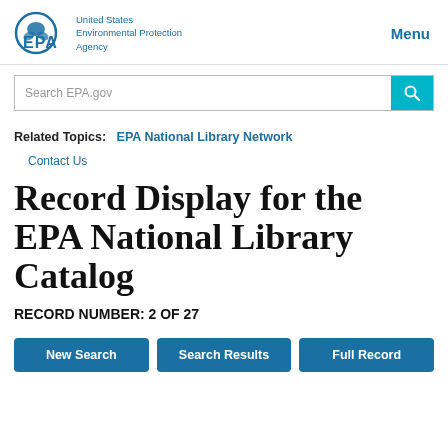[Figure (logo): EPA logo with eagle/leaf emblem and 'United States Environmental Protection Agency' text in blue, with 'Menu' link on the right]
[Figure (screenshot): Search EPA.gov search bar with teal search button]
Related Topics: EPA National Library Network
Contact Us
Record Display for the EPA National Library Catalog
RECORD NUMBER: 2 OF 27
New Search | Search Results | Full Record